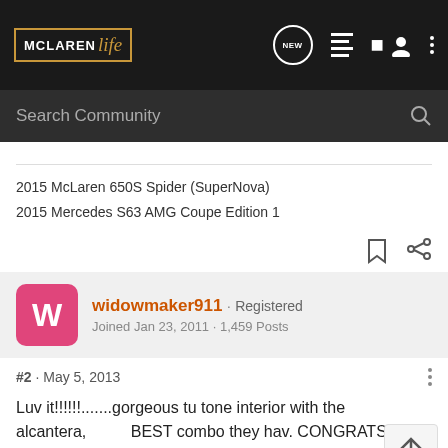McLaren Life · Search Community
2015 McLaren 650S Spider (SuperNova)
2015 Mercedes S63 AMG Coupe Edition 1
widowmaker911 · Registered
Joined Jan 23, 2011 · 1,459 Posts
#2 · May 5, 2013
Luv it!!!!!!.......gorgeous tu tone interior with the alcantera, BEST combo they hav. CONGRATS N ENJOY ;0)